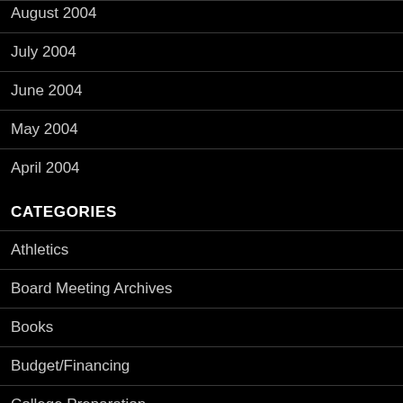August 2004
July 2004
June 2004
May 2004
April 2004
CATEGORIES
Athletics
Board Meeting Archives
Books
Budget/Financing
College Preparation